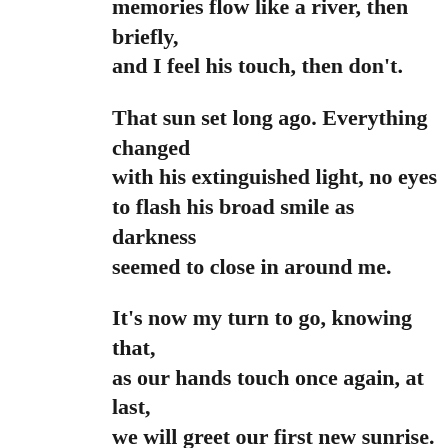memories flow like a river, then briefly,
and I feel his touch, then don't.

That sun set long ago. Everything changed
with his extinguished light, no eyes to flash his broad smile as darkness
seemed to close in around me.

It's now my turn to go, knowing that,
as our hands touch once again, at last,
we will greet our first new sunrise.